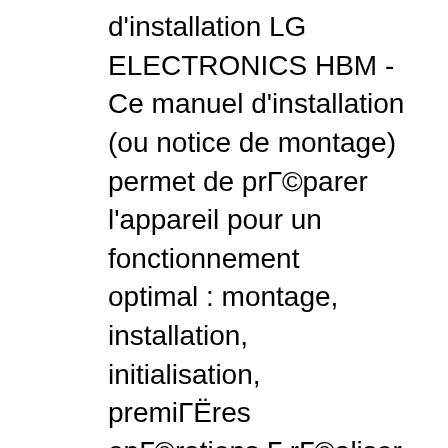d'installation LG ELECTRONICS HBM - Ce manuel d'installation (ou notice de montage) permet de préparer l'appareil pour un fonctionnement optimal : montage, installation, initialisation, premières opérations à réaliser. Bien installer ou monter l'apapreil permet une utilisation optimale., Please help find the manual for this LG - Life's Good Bluetooth Headset. LG Electronics Bluetooth Headset HBM-570. 0 Solutions. How do I get my Bluetooth headset into pairing mod . LG Electronics Bluetooth Headset hbm 290. 0 Solutions. LG HBM 770 headset manual. LG Electronics Bluetooth Headset LG HBM 770 headset. 0 Solutions. If i make a call or